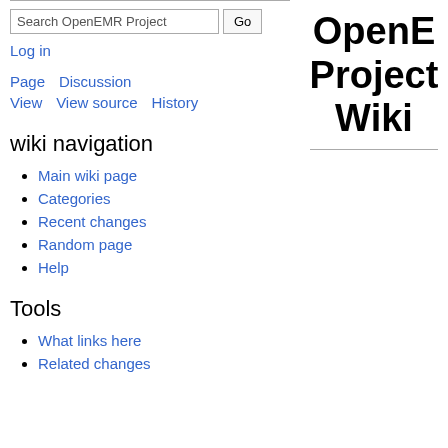Search OpenEMR Project [Go]
Log in
Page  Discussion  View  View source  History
OpenE Project Wiki
wiki navigation
Main wiki page
Categories
Recent changes
Random page
Help
Tools
What links here
Related changes